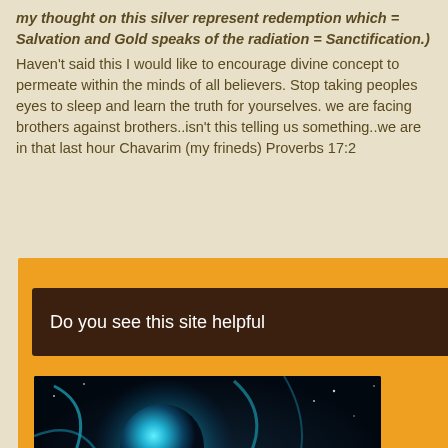my thought on this silver represent redemption which = Salvation and Gold speaks of the radiation = Sanctification.) Haven't said this I would like to encourage divine concept to permeate within the minds of all believers. Stop taking peoples eyes to sleep and learn the truth for yourselves. we are facing brothers against brothers..isn't this telling us something..we are in that last hour Chavarim (my frineds) Proverbs 17:2
[Figure (infographic): Orange background box with dark brown banner saying 'Do you see this site helpful', and a Genesis 1:1-3 image showing a glowing planet with swirling cosmic elements, birds silhouettes, palm trees and sand dunes.]